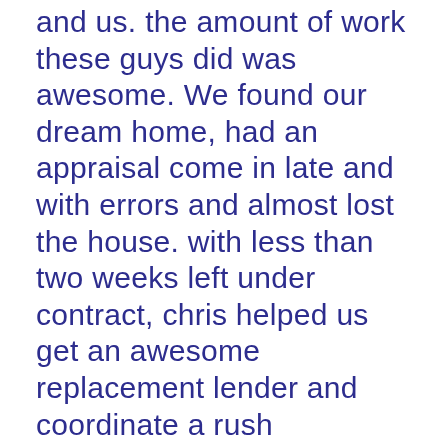and us. the amount of work these guys did was awesome. We found our dream home, had an appraisal come in late and with errors and almost lost the house. with less than two weeks left under contract, chris helped us get an awesome replacement lender and coordinate a rush appraisal. he even showed up at the appraisal with relevant comps and brought the seller who showed documents and receipts so the appraisal could be done accurately and fast. he also coordinate a delayed closing due to hurricane irma, a rush re-inspection and helped make sure our mortgage looked right (what do we know?!). We now have our dream home and it is thanks to chris and his team. the amount of work, care and patience they gave us was truly awesome. I cannot